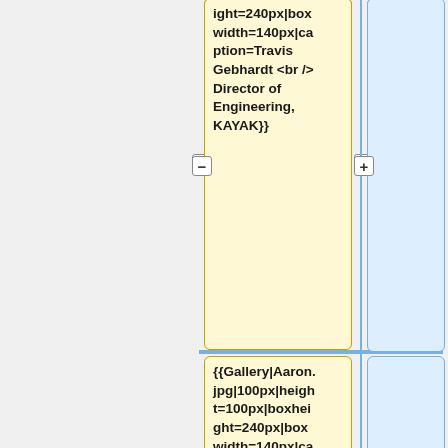ight=240px|boxwidth=140px|caption=Travis Gebhardt <br /> Director of Engineering, KAYAK}}
{{Gallery|Aaron.jpg|100px|height=100px|boxheight=240px|boxwidth=140px|caption=Aaron Geller, M.D. <br /> Resident Physician (Neurology), <br /> NYU}}
{{Gallery|LynneG.png|100px|height=100px|boxheight=240px|bo...